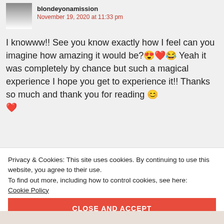[Figure (photo): Small avatar photo of a person (woman in white) in a square thumbnail]
blondeyonamission
November 19, 2020 at 11:33 pm
I knowww!! See you know exactly how I feel can you imagine how amazing it would be?😍❤️😂 Yeah it was completely by chance but such a magical experience I hope you get to experience it!! Thanks so much and thank you for reading 😊 ❤️
Privacy & Cookies: This site uses cookies. By continuing to use this website, you agree to their use.
To find out more, including how to control cookies, see here:
Cookie Policy
CLOSE AND ACCEPT